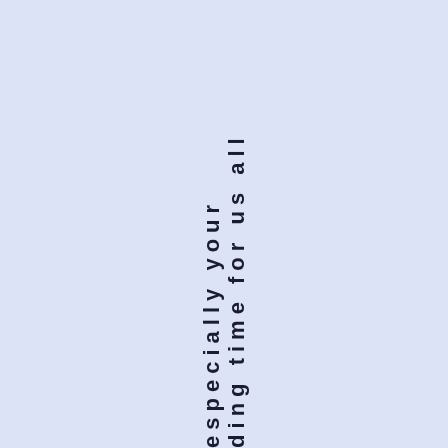ding time for us all, especially your